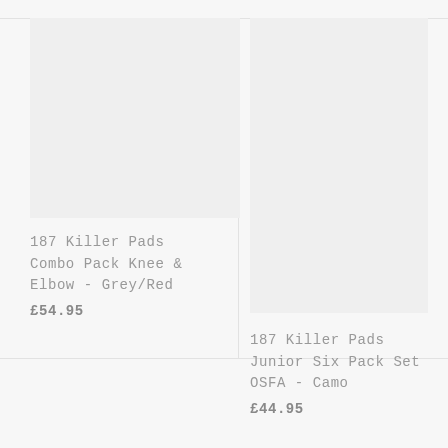[Figure (photo): Product image placeholder for 187 Killer Pads Combo Pack Knee & Elbow - Grey/Red]
[Figure (photo): Product image placeholder for 187 Killer Pads Junior Six Pack Set OSFA - Camo]
187 Killer Pads Combo Pack Knee & Elbow - Grey/Red
£54.95
187 Killer Pads Junior Six Pack Set OSFA - Camo
£44.95